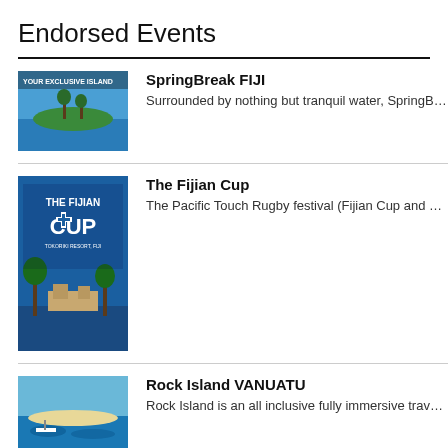Endorsed Events
SpringBreak FIJI - Surrounded by nothing but tranquil water, SpringBreak Fiji b…
The Fijian Cup - The Pacific Touch Rugby festival (Fijian Cup and Kava Cup…
Rock Island VANUATU - Rock Island is an all inclusive fully immersive travel experie…
TourismHQ - With seven years and growing under their belt; TourismHQ…